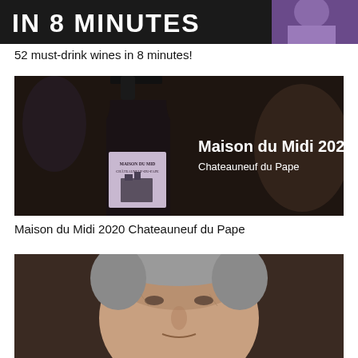[Figure (photo): Partial view of a video thumbnail with bold white text 'IN 8 MINUTES' on dark background, person in purple visible on right]
52 must-drink wines in 8 minutes!
[Figure (photo): Dark moody photo of a wine bottle labeled 'Maison du Midi Châteauneuf-du-Pape 2020' with white overlay text reading 'Maison du Midi 2020 / Chateauneuf du Pape']
Maison du Midi 2020 Chateauneuf du Pape
[Figure (photo): Close-up photo of an older man's face, partially visible, gray hair]